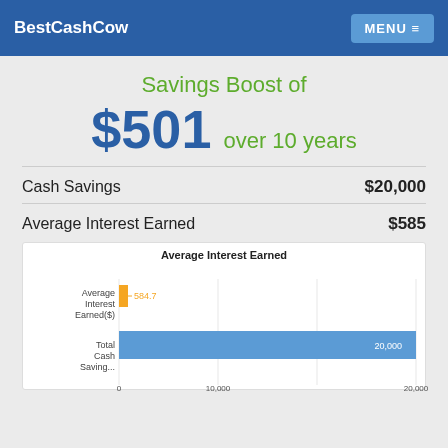BestCashCow — MENU
Savings Boost of $501 over 10 years
Cash Savings $20,000
Average Interest Earned $585
[Figure (bar-chart): Average Interest Earned]